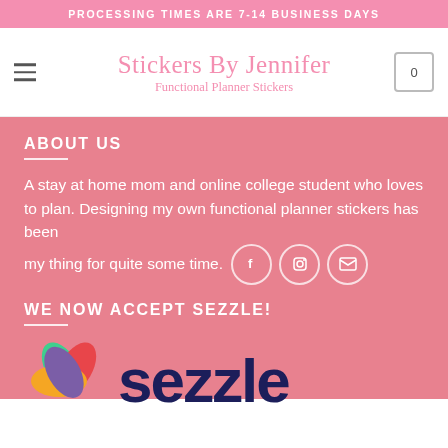PROCESSING TIMES ARE 7-14 BUSINESS DAYS
Stickers By Jennifer
Functional Planner Stickers
ABOUT US
A stay at home mom and online college student who loves to plan. Designing my own functional planner stickers has been my thing for quite some time.
WE NOW ACCEPT SEZZLE!
[Figure (logo): Sezzle logo with colorful leaf/petal icon and dark navy 'sezzle' wordmark]